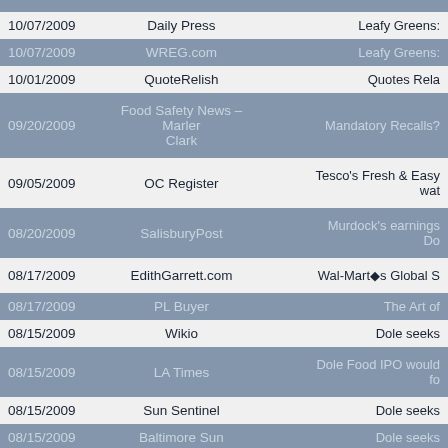| Date | Source | Title |
| --- | --- | --- |
| 10/07/2009 | Daily Press | Leafy Greens: |
| 10/07/2009 | WREG.com | Leafy Greens: |
| 10/01/2009 | QuoteRelish | Quotes Rela |
| 09/20/2009 | Food Safety News – Marler Clark | Mandatory Recalls? |
| 09/05/2009 | OC Register | Tesco's Fresh & Easy wat |
| 08/20/2009 | SalisburyPost | Murdock's earnings Do |
| 08/17/2009 | EdithGarrett.com | Wal-Mart's Global S |
| 08/17/2009 | PL Buyer | The Art of |
| 08/15/2009 | Wikio | Dole seeks |
| 08/15/2009 | LA Times | Dole Food IPO would fo |
| 08/15/2009 | Sun Sentinel | Dole seeks |
| 08/15/2009 | Baltimore Sun | Dole seeks |
| 08/15/2009 | LA Times | Dole Food IPO would fo |